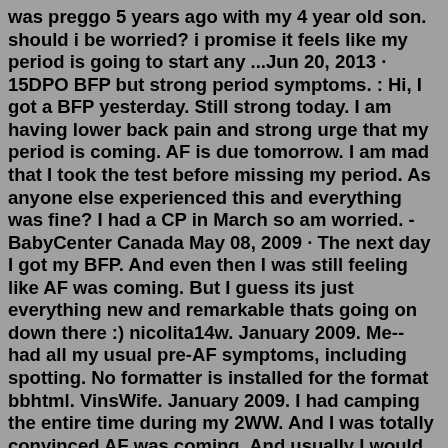was preggo 5 years ago with my 4 year old son. should i be worried? i promise it feels like my period is going to start any ...Jun 20, 2013 · 15DPO BFP but strong period symptoms. : Hi, I got a BFP yesterday. Still strong today. I am having lower back pain and strong urge that my period is coming. AF is due tomorrow. I am mad that I took the test before missing my period. As anyone else experienced this and everything was fine? I had a CP in March so am worried. - BabyCenter Canada May 08, 2009 · The next day I got my BFP. And even then I was still feeling like AF was coming. But I guess its just everything new and remarkable thats going on down there :) nicolita14w. January 2009. Me-- had all my usual pre-AF symptoms, including spotting. No formatter is installed for the format bbhtml. VinsWife. January 2009. I had camping the entire time during my 2WW. And I was totally convinced AF was coming. And usually I would get AF the same day I had my beta. Chiming in as another who had period-like cramps for a few days and for the whole week 5ish. I would bite